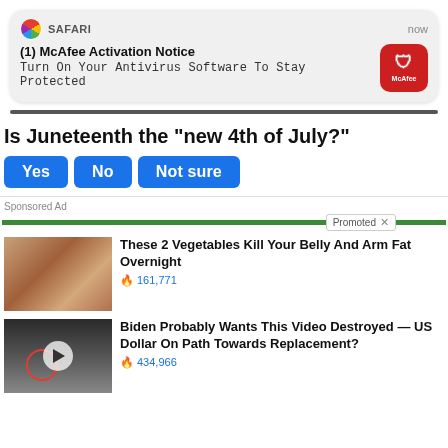[Figure (screenshot): Safari browser notification: (1) McAfee Activation Notice — Turn On Your Antivirus Software To Stay Protected, with McAfee logo icon on right and 'now' timestamp]
Is Juneteenth the "new 4th of July?"
Yes
No
Not sure
Sponsored Ad
Promoted
[Figure (photo): Ad thumbnail: two women shown from behind wearing black swimwear, before/after style]
These 2 Vegetables Kill Your Belly And Arm Fat Overnight
🔥 161,771
[Figure (photo): Ad thumbnail: group of people in formal attire in an ornate room, play button overlay, red circle around a figure]
Biden Probably Wants This Video Destroyed — US Dollar On Path Towards Replacement?
🔥 434,966